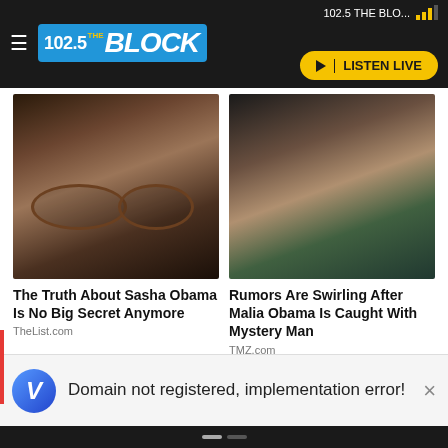102.5 THE BLO...
[Figure (screenshot): 102.5 The Block radio station app header with logo and LISTEN LIVE button]
[Figure (photo): Photo of Sasha Obama wearing glasses]
The Truth About Sasha Obama Is No Big Secret Anymore
TheList.com
[Figure (photo): Photo of Malia Obama with a mystery man]
Rumors Are Swirling After Malia Obama Is Caught With Mystery Man
TMZ.com
Domain not registered, implementation error!